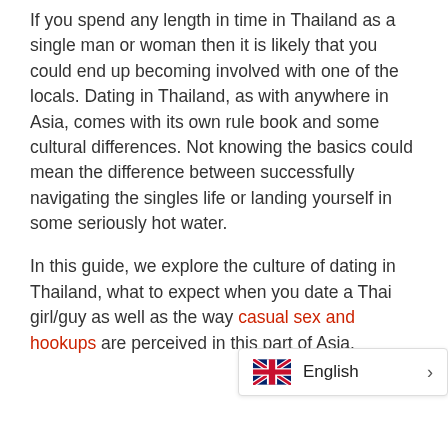If you spend any length in time in Thailand as a single man or woman then it is likely that you could end up becoming involved with one of the locals. Dating in Thailand, as with anywhere in Asia, comes with its own rule book and some cultural differences. Not knowing the basics could mean the difference between successfully navigating the singles life or landing yourself in some seriously hot water.
In this guide, we explore the culture of dating in Thailand, what to expect when you date a Thai girl/guy as well as the way casual sex and hookups are perceived in this part of Asia.
[Figure (other): English language selector widget with UK flag icon and right arrow]